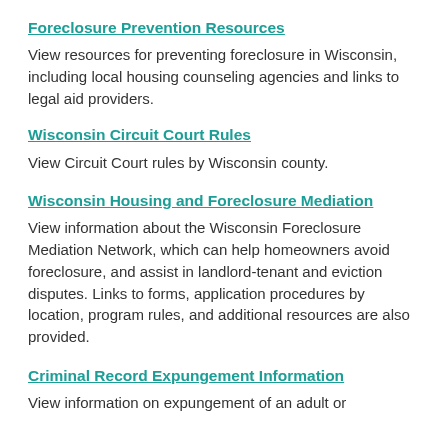Foreclosure Prevention Resources
View resources for preventing foreclosure in Wisconsin, including local housing counseling agencies and links to legal aid providers.
Wisconsin Circuit Court Rules
View Circuit Court rules by Wisconsin county.
Wisconsin Housing and Foreclosure Mediation
View information about the Wisconsin Foreclosure Mediation Network, which can help homeowners avoid foreclosure, and assist in landlord-tenant and eviction disputes. Links to forms, application procedures by location, program rules, and additional resources are also provided.
Criminal Record Expungement Information
View information on expungement of an adult or